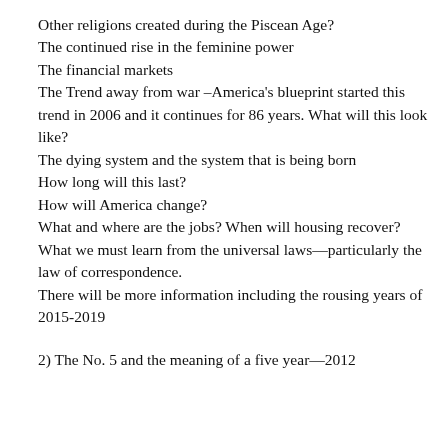Other religions created during the Piscean Age?
The continued rise in the feminine power
The financial markets
The Trend away from war –America's blueprint started this trend in 2006 and it continues for 86 years. What will this look like?
The dying system and the system that is being born
How long will this last?
How will America change?
What and where are the jobs? When will housing recover?
What we must learn from the universal laws—particularly the law of correspondence.
There will be more information including the rousing years of 2015-2019
2) The No. 5 and the meaning of a five year—2012